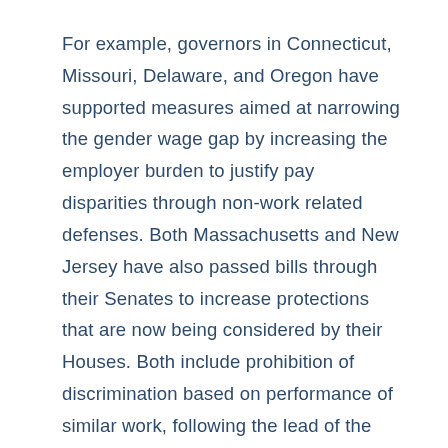For example, governors in Connecticut, Missouri, Delaware, and Oregon have supported measures aimed at narrowing the gender wage gap by increasing the employer burden to justify pay disparities through non-work related defenses. Both Massachusetts and New Jersey have also passed bills through their Senates to increase protections that are now being considered by their Houses. Both include prohibition of discrimination based on performance of similar work, following the lead of the standards set in California.